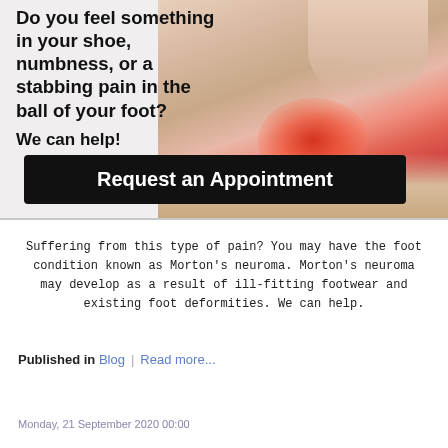[Figure (photo): Banner image showing a foot with a highlighted red area at the ball of the foot, with bold text overlay: 'Do you feel something in your shoe, numbness, or a stabbing pain in the ball of your foot? We can help!' and a black 'Request an Appointment' button.]
Suffering from this type of pain? You may have the foot condition known as Morton's neuroma. Morton's neuroma may develop as a result of ill-fitting footwear and existing foot deformities. We can help.
Published in Blog | Read more...
Monday, 21 September 2020 00:00